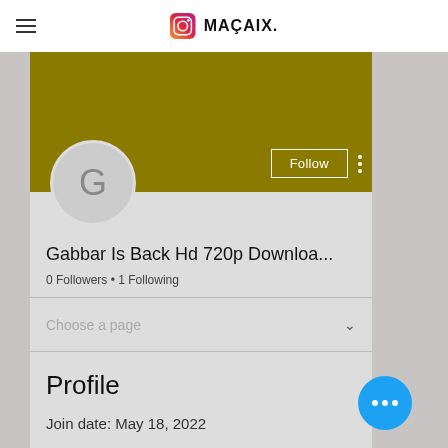MAÇAIX.
[Figure (screenshot): Instagram profile page screenshot showing user 'Gabbar Is Back Hd 720p Downloa...' with gold banner, avatar showing letter G, Follow button, 0 Followers, 1 Following, Choose a page dropdown, Profile section with Join date: May 18, 2022]
Gabbar Is Back Hd 720p Downloa...
0 Followers • 1 Following
Profile
Join date: May 18, 2022